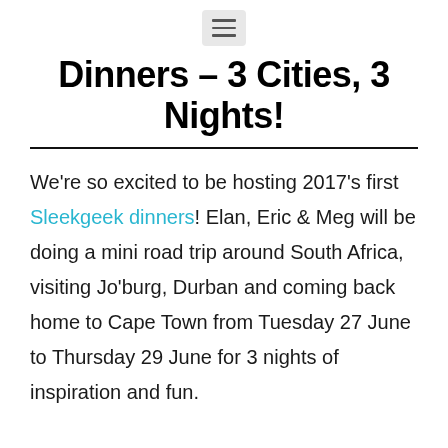≡
Dinners – 3 Cities, 3 Nights!
We're so excited to be hosting 2017's first Sleekgeek dinners! Elan, Eric & Meg will be doing a mini road trip around South Africa, visiting Jo'burg, Durban and coming back home to Cape Town from Tuesday 27 June to Thursday 29 June for 3 nights of inspiration and fun.